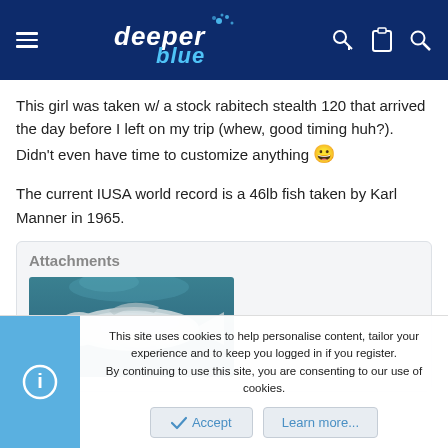deeper blue
This girl was taken w/ a stock rabitech stealth 120 that arrived the day before I left on my trip (whew, good timing huh?). Didn't even have time to customize anything 😀
The current IUSA world record is a 46lb fish taken by Karl Manner in 1965.
Attachments
[Figure (photo): Underwater photograph of a large fish, appearing pale/white against a blue-green aquatic background]
This site uses cookies to help personalise content, tailor your experience and to keep you logged in if you register. By continuing to use this site, you are consenting to our use of cookies.